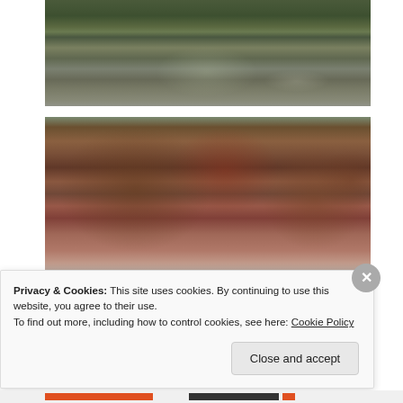[Figure (photo): Outdoor forest scene with a still pond or lake in the foreground, bare and leafy trees reflected in the dark water, muted autumn colors]
[Figure (photo): Autumn trees with red and orange foliage against a partly cloudy sky, viewed from below looking upward, dense canopy]
Privacy & Cookies: This site uses cookies. By continuing to use this website, you agree to their use.
To find out more, including how to control cookies, see here: Cookie Policy
Close and accept